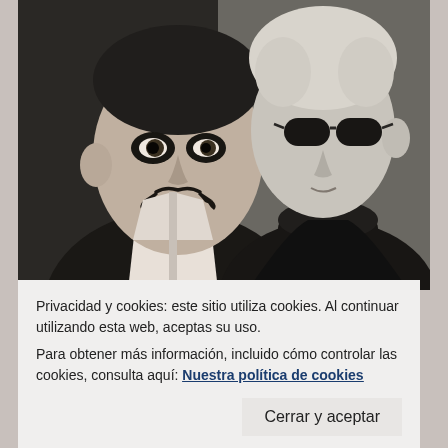[Figure (photo): Black and white photograph of two famous artists side by side: on the left, a man with a distinctive curled mustache (Salvador Dalí), and on the right, a man with light-colored hair wearing dark sunglasses and a black turtleneck (Andy Warhol).]
5 CANCIONES...
Privacidad y cookies: este sitio utiliza cookies. Al continuar utilizando esta web, aceptas su uso.
Para obtener más información, incluido cómo controlar las cookies, consulta aquí: Nuestra política de cookies
Cerrar y aceptar
Al igual que la literatura o el cine, el mundo del arte y...